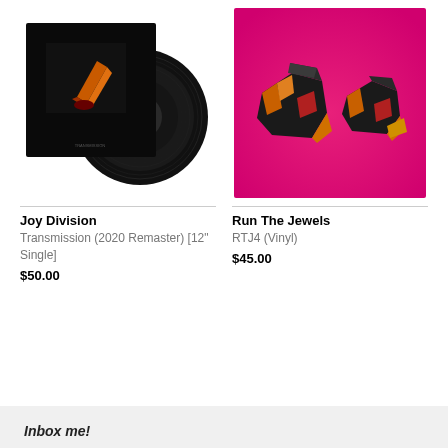[Figure (photo): Joy Division Transmission 12" single vinyl record with black album sleeve showing an angled orange/gold instrument graphic]
[Figure (photo): Run The Jewels RTJ4 album art on bright magenta/pink background with two black robot hand/fist sculptures]
Joy Division
Transmission (2020 Remaster) [12" Single]
$50.00
Run The Jewels
RTJ4 (Vinyl)
$45.00
Inbox me!